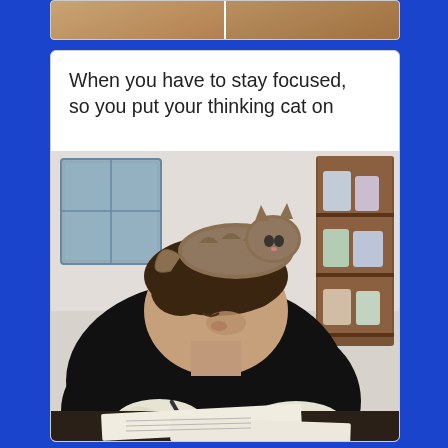[Figure (photo): Top portion of a social media card showing a partially visible image strip with brown/tan toned animal photos]
When you have to stay focused, so you put your thinking cat on
[Figure (photo): A person in a black shirt and white latex gloves is bent over a desk writing on papers, while a tabby cat sits perched on top of their head/neck. In the background is a wooden shelf unit with various items and what appears to be a glass-fronted cabinet. The setting looks like a veterinary clinic or pet shop.]